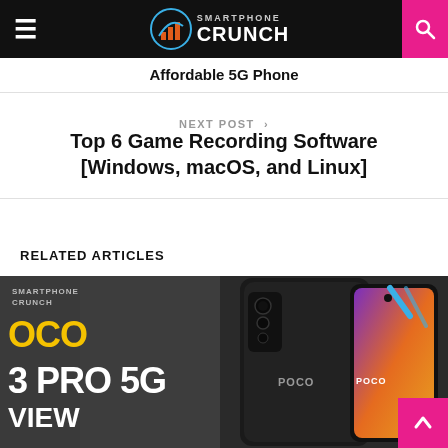Smartphone Crunch
Affordable 5G Phone
NEXT POST >
Top 6 Game Recording Software [Windows, macOS, and Linux]
RELATED ARTICLES
[Figure (photo): POCO M3 PRO 5G smartphone promotional image showing front and back of the device with dark metallic finish, orange gradient on screen, on a dark background with Smartphone Crunch and POCO M3 PRO 5G text overlay]